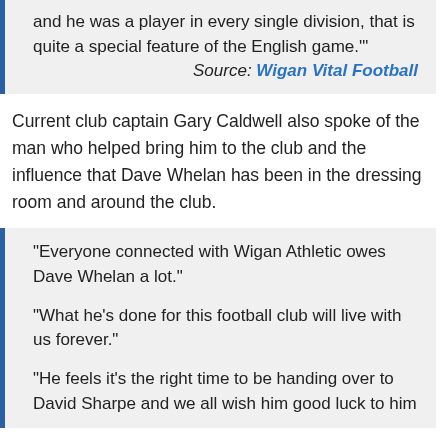and he was a player in every single division, that is quite a special feature of the English game.'
Source: Wigan Vital Football
Current club captain Gary Caldwell also spoke of the man who helped bring him to the club and the influence that Dave Whelan has been in the dressing room and around the club.
"Everyone connected with Wigan Athletic owes Dave Whelan a lot."
"What he's done for this football club will live with us forever."
"He feels it's the right time to be handing over to David Sharpe and we all wish him good luck to him